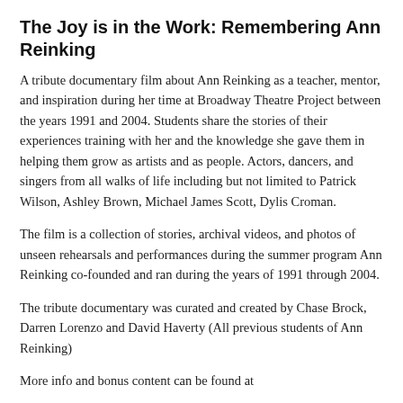The Joy is in the Work: Remembering Ann Reinking
A tribute documentary film about Ann Reinking as a teacher, mentor, and inspiration during her time at Broadway Theatre Project between the years 1991 and 2004. Students share the stories of their experiences training with her and the knowledge she gave them in helping them grow as artists and as people. Actors, dancers, and singers from all walks of life including but not limited to Patrick Wilson, Ashley Brown, Michael James Scott, Dylis Croman.
The film is a collection of stories, archival videos, and photos of unseen rehearsals and performances during the summer program Ann Reinking co-founded and ran during the years of 1991 through 2004.
The tribute documentary was curated and created by Chase Brock, Darren Lorenzo and David Haverty (All previous students of Ann Reinking)
More info and bonus content can be found at